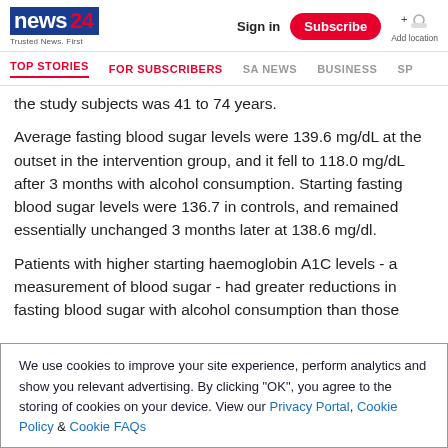news24 Trusted News. First | Sign in | Subscribe | Add location
TOP STORIES | FOR SUBSCRIBERS | SA NEWS | BUSINESS | SP
the study subjects was 41 to 74 years.
Average fasting blood sugar levels were 139.6 mg/dL at the outset in the intervention group, and it fell to 118.0 mg/dL after 3 months with alcohol consumption. Starting fasting blood sugar levels were 136.7 in controls, and remained essentially unchanged 3 months later at 138.6 mg/dl.
Patients with higher starting haemoglobin A1C levels - a measurement of blood sugar - had greater reductions in fasting blood sugar with alcohol consumption than those
We use cookies to improve your site experience, perform analytics and show you relevant advertising. By clicking "OK", you agree to the storing of cookies on your device. View our Privacy Portal, Cookie Policy & Cookie FAQs